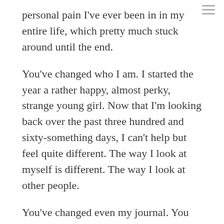personal pain I've ever been in in my entire life, which pretty much stuck around until the end.
You've changed who I am. I started the year a rather happy, almost perky, strange young girl. Now that I'm looking back over the past three hundred and sixty-something days, I can't help but feel quite different. The way I look at myself is different. The way I look at other people.
You've changed even my journal. You changed a place where I could go and write whatever was on my mind to a place where I go to be happy for a little while. Even when my world was crumbling around me, this place was where I'd put on a smile for some time. Sometimes I hated that. I hated feeling like a liar. I hated feeling like I couldn't be